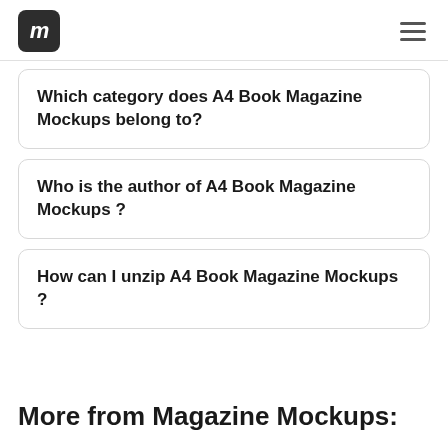im [logo] [hamburger menu]
Which category does A4 Book Magazine Mockups belong to?
Who is the author of A4 Book Magazine Mockups ?
How can I unzip A4 Book Magazine Mockups ?
More from Magazine Mockups: